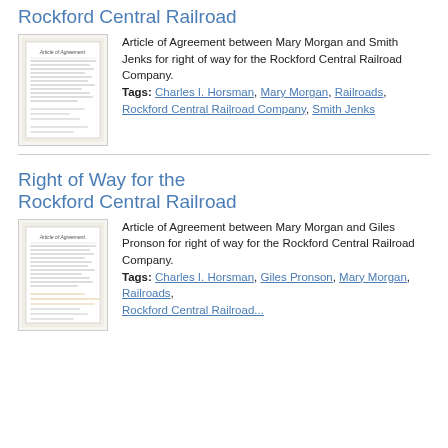Rockford Central Railroad
[Figure (photo): Thumbnail image of a handwritten Article of Agreement document]
Article of Agreement between Mary Morgan and Smith Jenks for right of way for the Rockford Central Railroad Company.
Tags: Charles I. Horsman, Mary Morgan, Railroads, Rockford Central Railroad Company, Smith Jenks
Right of Way for the Rockford Central Railroad
[Figure (photo): Thumbnail image of a handwritten Article of Agreement document]
Article of Agreement between Mary Morgan and Giles Pronson for right of way for the Rockford Central Railroad Company.
Tags: Charles I. Horsman, Giles Pronson, Mary Morgan, Railroads, Rockford Central Railroad...